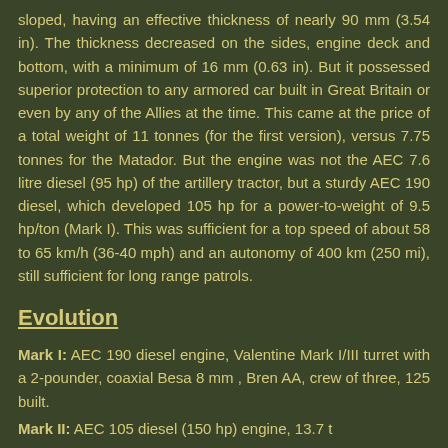sloped, having an effective thickness of nearly 90 mm (3.54 in). The thickness decreased on the sides, engine deck and bottom, with a minimum of 16 mm (0.63 in). But it possessed superior protection to any armored car built in Great Britain or even by any of the Allies at the time. This came at the price of a total weight of 11 tonnes (for the first version), versus 7.75 tonnes for the Matador. But the engine was not the AEC 7.6 litre diesel (95 hp) of the artillery tractor, but a sturdy AEC 190 diesel, which developed 105 hp for a power-to-weight of 9.5 hp/ton (Mark I). This was sufficient for a top speed of about 58 to 65 km/h (36-40 mph) and an autonomy of 400 km (250 mi), still sufficient for long range patrols.
Evolution
Mark I: AEC 190 diesel engine, Valentine Mark I/III turret with a 2-pounder, coaxial Besa 8 mm , Bren AA, crew of three, 125 built.
Mark II: AEC 105 diesel (150 hp) engine, 13.7 t